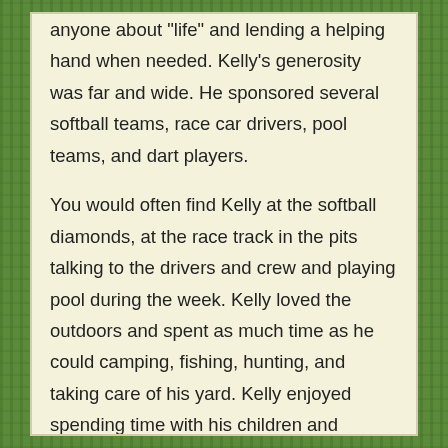anyone about "life" and lending a helping hand when needed. Kelly's generosity was far and wide. He sponsored several softball teams, race car drivers, pool teams, and dart players.

You would often find Kelly at the softball diamonds, at the race track in the pits talking to the drivers and crew and playing pool during the week. Kelly loved the outdoors and spent as much time as he could camping, fishing, hunting, and taking care of his yard. Kelly enjoyed spending time with his children and grandchildren and was proud of all their accomplishments.

Kelly is lovingly remembered by his son, Brian